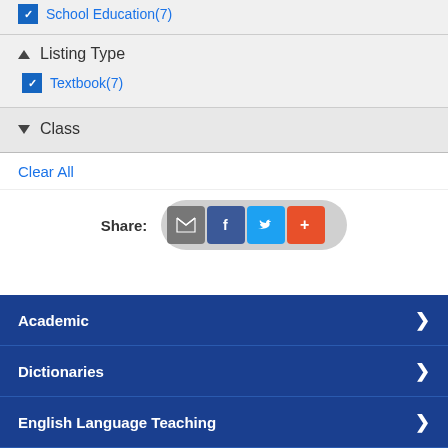School Education(7)
Listing Type
Textbook(7)
Class
Clear All
Share:
Academic
Dictionaries
English Language Teaching